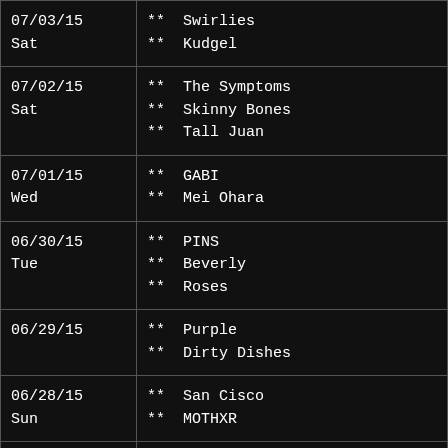| Date | Events |
| --- | --- |
| 07/03/15
Sat | ** Swirlies
** Kudgel |
| 07/02/15
Sat | ** The Symptoms
** Skinny Bones
** Tall Juan |
| 07/01/15
Wed | ** GABI
** Mei Ohara |
| 06/30/15
Tue | ** PINS
** Beverly
** Roses |
| 06/29/15 | ** Purple
** Dirty Dishes |
| 06/28/15
Sun | ** San Cisco
** MOTHXR |
| 06/27/15
Sat | ** Pansy Division
** DJ Colby Drasher |
| 06/26/15 | ** Royal Thunder |